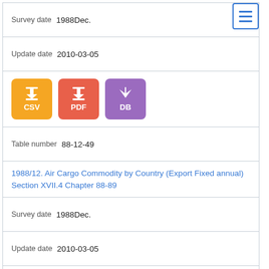Survey date  1988Dec.
Update date  2010-03-05
[Figure (other): Download buttons: CSV (orange), PDF (red-orange), DB (purple) with download/arrow icons]
Table number  88-12-49
1988/12. Air Cargo Commodity by Country (Export Fixed annual) Section XVII.4 Chapter 88-89
Survey date  1988Dec.
Update date  2010-03-05
[Figure (other): Download buttons: CSV (orange), PDF (red-orange), DB (purple) with download/arrow icons]
Table number  88-12-50